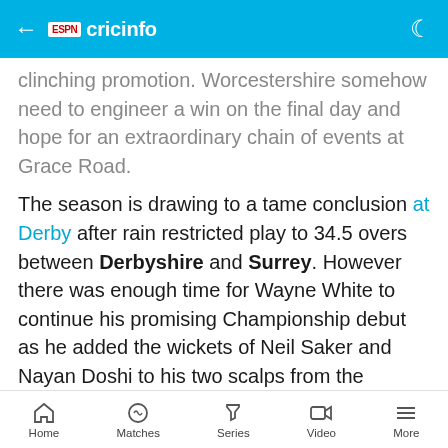ESPN cricinfo
clinching promotion. Worcestershire somehow need to engineer a win on the final day and hope for an extraordinary chain of events at Grace Road.
The season is drawing to a tame conclusion at Derby after rain restricted play to 34.5 overs between Derbyshire and Surrey. However there was enough time for Wayne White to continue his promising Championship debut as he added the wickets of Neil Saker and Nayan Doshi to his two scalps from the previous day. Saker and Tim Murtagh had added 70 for the seventh wicket to reduce Surrey's deficit to 90.
Ottis Gibson
Wayne White
Dale Benkenstein
Home  Matches  Series  Video  More